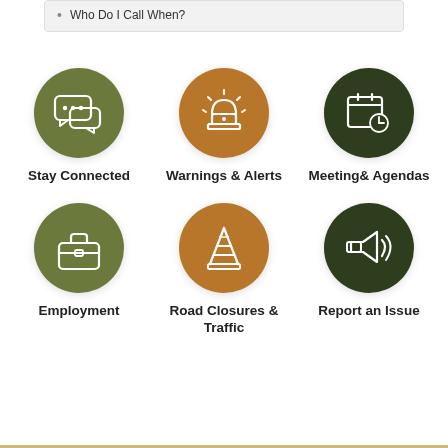Who Do I Call When?
[Figure (infographic): Six circular icon buttons arranged in a 2-row, 3-column grid. Row 1: Stay Connected (olive green circle with chat bubbles icon), Warnings & Alerts (brown/orange circle with siren/alarm icon), Meeting & Agendas (dark green circle with calendar and clock icon). Row 2: Employment (olive green circle with briefcase icon), Road Closures & Traffic (brown/orange circle with traffic cone icon), Report an Issue (dark green circle with megaphone icon).]
Stay Connected
Warnings & Alerts
Meeting& Agendas
Employment
Road Closures & Traffic
Report an Issue